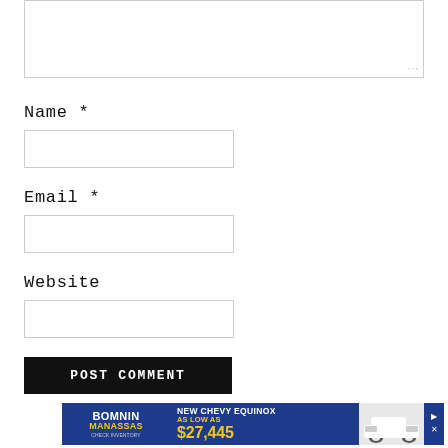[Figure (screenshot): Textarea input box (comment field), partially visible at top of page]
Name *
[Figure (screenshot): Text input box for Name field]
Email *
[Figure (screenshot): Text input box for Email field]
Website
[Figure (screenshot): Text input box for Website field]
POST COMMENT
[Figure (infographic): Advertisement banner for Bomnin Manassas - New Chevy Equinox as low as $27,445]